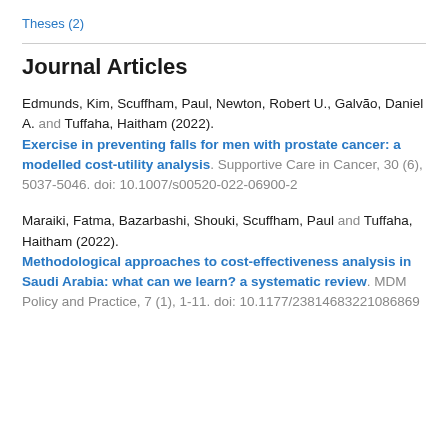Theses (2)
Journal Articles
Edmunds, Kim, Scuffham, Paul, Newton, Robert U., Galvão, Daniel A. and Tuffaha, Haitham (2022). Exercise in preventing falls for men with prostate cancer: a modelled cost-utility analysis. Supportive Care in Cancer, 30 (6), 5037-5046. doi: 10.1007/s00520-022-06900-2
Maraiki, Fatma, Bazarbashi, Shouki, Scuffham, Paul and Tuffaha, Haitham (2022). Methodological approaches to cost-effectiveness analysis in Saudi Arabia: what can we learn? a systematic review. MDM Policy and Practice, 7 (1), 1-11. doi: 10.1177/23814683221086869